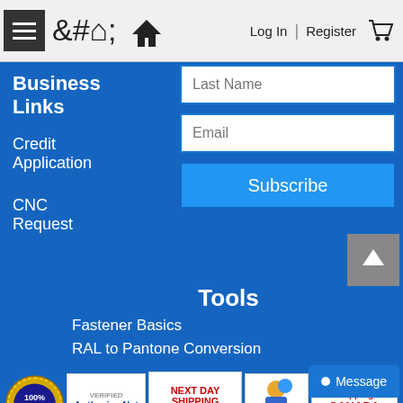Log In | Register
Business Links
Credit Application
CNC Request
Last Name
Email
Subscribe
Tools
Fastener Basics
RAL to Pantone Conversion
[Figure (logo): Row of trust/affiliation badges: 100% guarantee gold seal, Authorize.Net verified, Next Day Shipping Florida Residents, Secure Server figure, Shipping Canada Information, SGIA member badge, International Sign Association badge]
Message